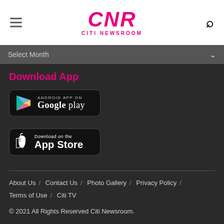CNR CITI NEWSROOM
Select Month
Download App
[Figure (logo): Google Play Store badge — black rounded rectangle with Play triangle icon and text 'ANDROID APP ON Google play']
[Figure (logo): Apple App Store badge — black rounded rectangle with Apple logo and text 'Download on the App Store']
About Us / Contact Us / Photo Gallery / Privacy Policy / Terms of Use / Citi TV
© 2021 All Rights Reserved Citi Newsroom.